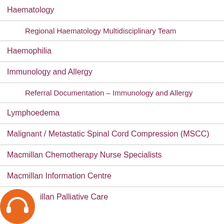Haematology
Regional Haematology Multidisciplinary Team
Haemophilia
Immunology and Allergy
Referral Documentation – Immunology and Allergy
Lymphoedema
Malignant / Metastatic Spinal Cord Compression (MSCC)
Macmillan Chemotherapy Nurse Specialists
Macmillan Information Centre
Macmillan Palliative Care
[Figure (logo): Orange circular icon with white headphones symbol]